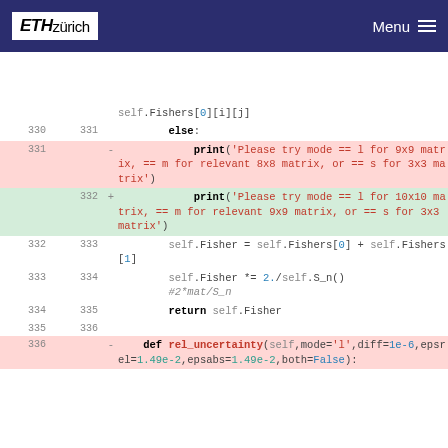ETH zürich  Menu
[Figure (screenshot): Code diff view showing Python code changes in a class method. Lines 330-336 shown with deleted (red) and inserted (green) lines. Line 331 deleted: print('Please try mode == l for 9x9 matrix, == m for relevant 8x8 matrix, or == s for 3x3 matrix'). Line 332 inserted: print('Please try mode == l for 10x10 matrix, == m for relevant 9x9 matrix, or == s for 3x3 matrix'). Lines 332-336 normal: self.Fisher = self.Fishers[0] + self.Fishers[1], self.Fisher *= 2./self.S_n() #2*mat/S_n, return self.Fisher. Line 336 deleted: def rel_uncertainty(self,mode='l',diff=1e-6,epsrel=1.49e-2,epsabs=1.49e-2,both=False):]